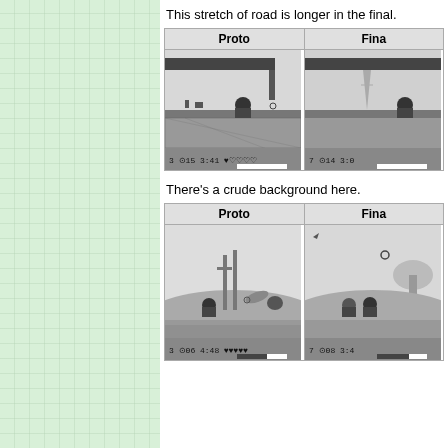[Figure (screenshot): Left sidebar with light green grid/graph paper texture]
This stretch of road is longer in the final.
| Proto | Fina... |
| --- | --- |
| [Game Boy screenshot - Proto: character on ledge, HUD shows 3/15, 3:41, 5 hearts] | [Game Boy screenshot - Final: character on ledge with background details, HUD shows 7/14, 3:0..., 5 hearts] |
There's a crude background here.
| Proto | Fina... |
| --- | --- |
| [Game Boy screenshot - Proto: characters and cacti/plants on ground, HUD shows 3/06, 4:48, 5 hearts] | [Game Boy screenshot - Final: characters on ground, HUD shows 7/08, 3:4..., 5 hearts] |